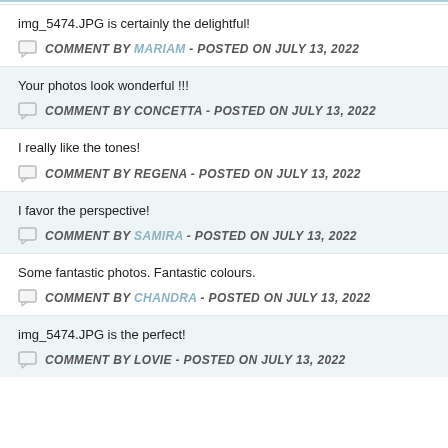img_5474.JPG is certainly the delightful!
COMMENT BY MARIAM - POSTED ON JULY 13, 2022
Your photos look wonderful !!!
COMMENT BY CONCETTA - POSTED ON JULY 13, 2022
I really like the tones!
COMMENT BY REGENA - POSTED ON JULY 13, 2022
I favor the perspective!
COMMENT BY SAMIRA - POSTED ON JULY 13, 2022
Some fantastic photos. Fantastic colours.
COMMENT BY CHANDRA - POSTED ON JULY 13, 2022
img_5474.JPG is the perfect!
COMMENT BY LOVIE - POSTED ON JULY 13, 2022